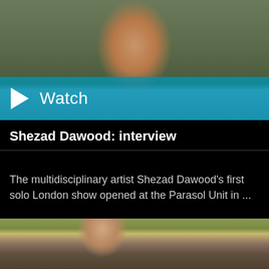[Figure (photo): Video thumbnail showing a man smiling outdoors with trees/plants in background, with a teal/blue semi-transparent overlay at the bottom showing a play button and the word 'Watch']
Shezad Dawood: interview
The multidisciplinary artist Shezad Dawood's first solo London show opened at the Parasol Unit in ...
[Figure (photo): Photo of a bearded man wearing glasses, a dark suit, blue shirt and red tie, standing next to an ornate golden decorative vessel/urn, with green curtains and dark walls in background]